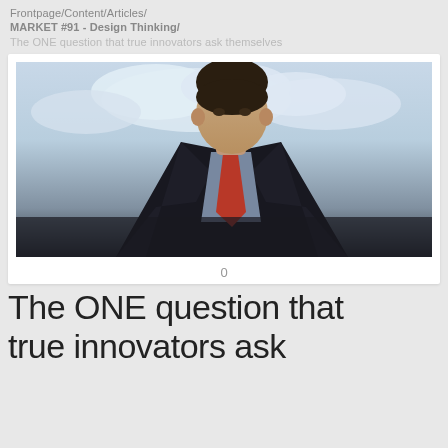Frontpage/Content/Articles/ MARKET #91 - Design Thinking/ The ONE question that true innovators ask themselves
[Figure (photo): Young man in dark suit jacket with red tie, checkered shirt, looking upward against a cloudy sky background]
0
The ONE question that true innovators ask